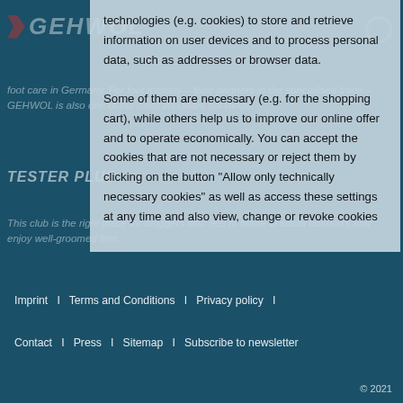[Figure (screenshot): Website page partially covered by a cookie consent modal overlay. Background shows GEHWOL brand website with teal/dark blue design. Modal is a semi-transparent light blue/grey box.]
technologies (e.g. cookies) to store and retrieve information on user devices and to process personal data, such as addresses or browser data.

Some of them are necessary (e.g. for the shopping cart), while others help us to improve our online offer and to operate economically. You can accept the cookies that are not necessary or reject them by clicking on the button "Allow only technically necessary cookies" as well as access these settings at any time and also view, change or revoke cookies
Imprint   |   Terms and Conditions   |   Privacy policy   |
Contact   |   Press   |   Sitemap   |   Subscribe to newsletter
© 2021